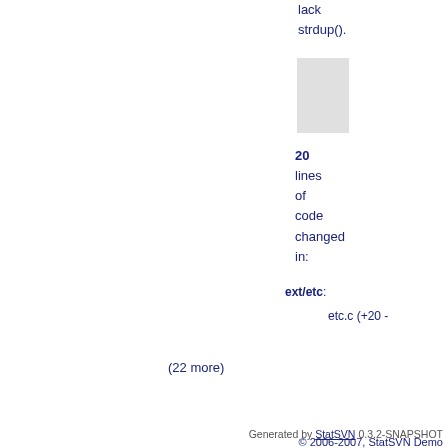lack
strdup().
20
lines
of
code
changed
in:
ext/etc:
etc.c (+20 -)
(22 more)
Generated by StatSVN 0.3.2-SNAPSHOT
The easiest platform for automating ops procedures
© 2006-2007, StatSVN Demo